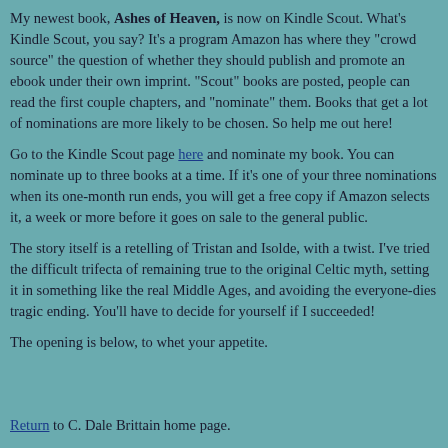My newest book, Ashes of Heaven, is now on Kindle Scout. What's Kindle Scout, you say? It's a program Amazon has where they "crowd source" the question of whether they should publish and promote an ebook under their own imprint. "Scout" books are posted, people can read the first couple chapters, and "nominate" them. Books that get a lot of nominations are more likely to be chosen. So help me out here!
Go to the Kindle Scout page here and nominate my book. You can nominate up to three books at a time. If it's one of your three nominations when its one-month run ends, you will get a free copy if Amazon selects it, a week or more before it goes on sale to the general public.
The story itself is a retelling of Tristan and Isolde, with a twist. I've tried the difficult trifecta of remaining true to the original Celtic myth, setting it in something like the real Middle Ages, and avoiding the everyone-dies tragic ending. You'll have to decide for yourself if I succeeded!
The opening is below, to whet your appetite.
Return to C. Dale Brittain home page.